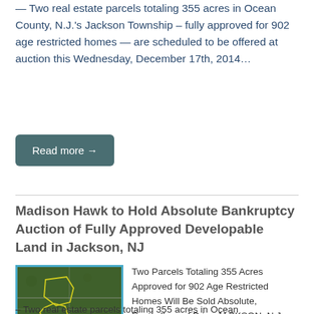— Two real estate parcels totaling 355 acres in Ocean County, N.J.'s Jackson Township – fully approved for 902 age restricted homes — are scheduled to be offered at auction this Wednesday, December 17th, 2014…
Read more →
Madison Hawk to Hold Absolute Bankruptcy Auction of Fully Approved Developable Land in Jackson, NJ
[Figure (photo): Aerial satellite map image showing two parcels of land outlined in yellow in Jackson Township, NJ]
Two Parcels Totaling 355 Acres Approved for 902 Age Restricted Homes Will Be Sold Absolute, Regardless of Price JACKSON, N.J. – Two real estate parcels totaling 355 acres in Ocean